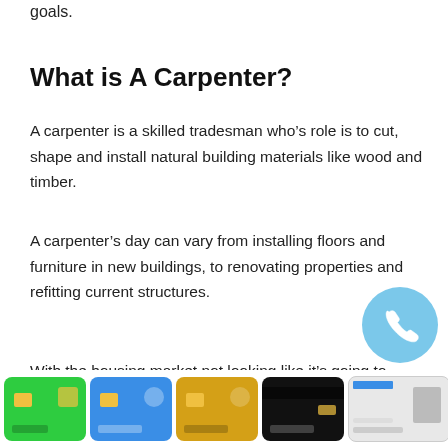goals.
What is A Carpenter?
A carpenter is a skilled tradesman who’s role is to cut, shape and install natural building materials like wood and timber.
A carpenter’s day can vary from installing floors and furniture in new buildings, to renovating properties and refitting current structures.
With the housing market not looking like it’s going to decline soon, carpenters continue to be in high demand. It’s also a universal trade so
[Figure (illustration): Row of five CSCS/trade cards: green card, blue card, gold card, black card, and a white ID card with photo]